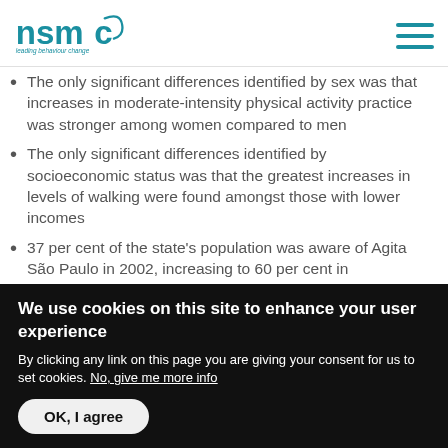nsmc – leading behaviour change
The only significant differences identified by sex was that increases in moderate-intensity physical activity practice was stronger among women compared to men
The only significant differences identified by socioeconomic status was that the greatest increases in levels of walking were found amongst those with lower incomes
37 per cent of the state's population was aware of Agita São Paulo in 2002, increasing to 60 per cent in
We use cookies on this site to enhance your user experience
By clicking any link on this page you are giving your consent for us to set cookies. No, give me more info
OK, I agree